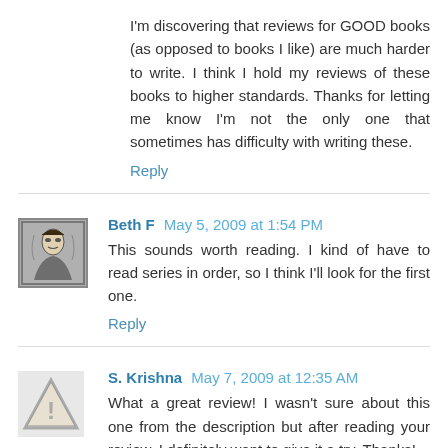I'm discovering that reviews for GOOD books (as opposed to books I like) are much harder to write. I think I hold my reviews of these books to higher standards. Thanks for letting me know I'm not the only one that sometimes has difficulty with writing these.
Reply
Beth F  May 5, 2009 at 1:54 PM
This sounds worth reading. I kind of have to read series in order, so I think I'll look for the first one.
Reply
S. Krishna  May 7, 2009 at 12:35 AM
What a great review! I wasn't sure about this one from the description but after reading your review, I definitely want to give it a try. Thanks!
Reply